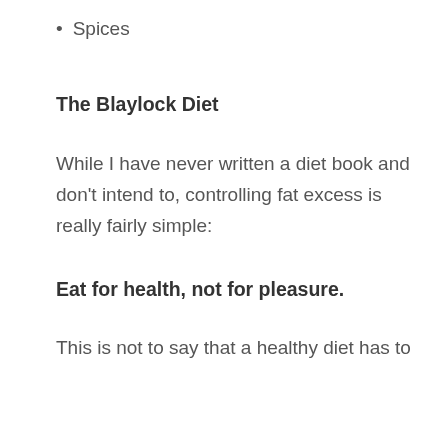Spices
The Blaylock Diet
While I have never written a diet book and don't intend to, controlling fat excess is really fairly simple:
Eat for health, not for pleasure.
This is not to say that a healthy diet has to